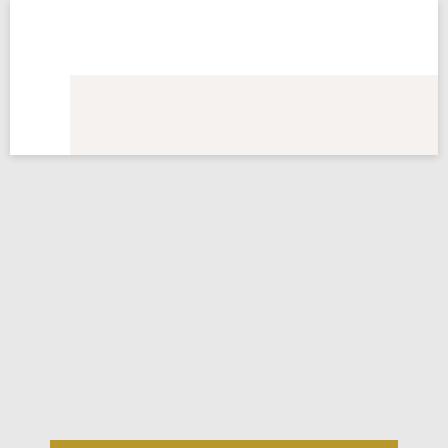[Figure (other): Top white card with light beige/grey inset panel at the bottom right portion, representing an image or content placeholder in a resume/portfolio layout]
SEE WORK EXAMPLES BELOW
Software + Technical Proficiencies